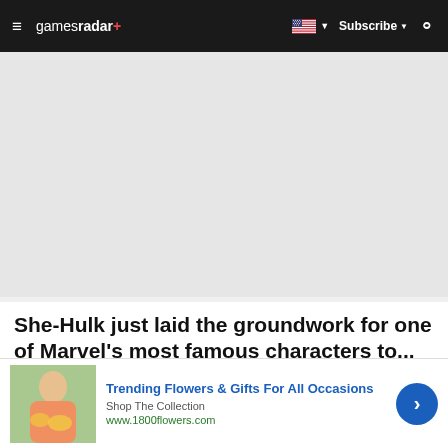gamesradar+ | Subscribe | Search
[Figure (other): Gray advertisement placeholder area]
She-Hulk just laid the groundwork for one of Marvel's most famous characters to...
Warning: This article contains minor spoilers for She-Hulk: episode 2! Turn back now if you have not seen th...
[Figure (other): Advertisement banner: Trending Flowers & Gifts For All Occasions. Shop The Collection. www.1800flowers.com. Shows a woman holding flowers.]